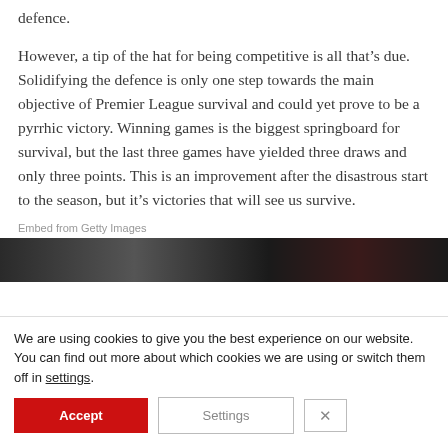defence.
However, a tip of the hat for being competitive is all that’s due. Solidifying the defence is only one step towards the main objective of Premier League survival and could yet prove to be a pyrrhic victory. Winning games is the biggest springboard for survival, but the last three games have yielded three draws and only three points. This is an improvement after the disastrous start to the season, but it’s victories that will see us survive.
Embed from Getty Images
[Figure (photo): Dark photograph, partial view, appears to be people or a crowd scene, sourced from Getty Images.]
We are using cookies to give you the best experience on our website.
You can find out more about which cookies we are using or switch them off in settings.